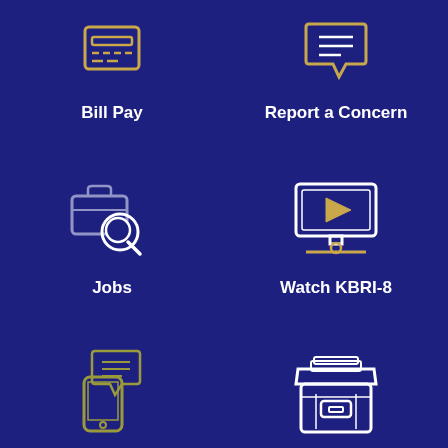[Figure (illustration): Bill Pay icon: credit card terminal with dashed lines, gold and white outline]
Bill Pay
[Figure (illustration): Report a Concern icon: speech bubble with lines, gold and white outline]
Report a Concern
[Figure (illustration): Jobs icon: briefcase with magnifying glass, white/gray outline]
Jobs
[Figure (illustration): Watch KBRI-8 icon: monitor/TV with play button triangle, gold and white outline]
Watch KBRI-8
[Figure (illustration): Notify Me icon: smartphone with speech bubble and text lines, olive/gold outline]
Notify Me®
[Figure (illustration): Agendas icon: filing box/tray with papers, white outline]
Agendas